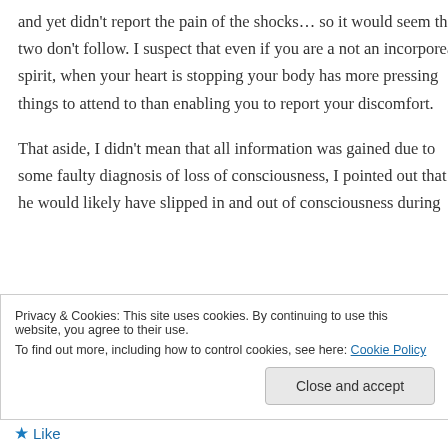and yet didn't report the pain of the shocks… so it would seem the two don't follow. I suspect that even if you are a not an incorporeal spirit, when your heart is stopping your body has more pressing things to attend to than enabling you to report your discomfort.
That aside, I didn't mean that all information was gained due to some faulty diagnosis of loss of consciousness, I pointed out that he would likely have slipped in and out of consciousness during
Privacy & Cookies: This site uses cookies. By continuing to use this website, you agree to their use.
To find out more, including how to control cookies, see here: Cookie Policy
Close and accept
Like